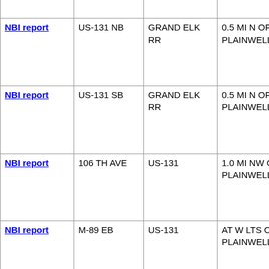|  |  |  |  |  |
| --- | --- | --- | --- | --- |
|  |  |  |  | girder |
| NBI report | US-131 NB | GRAND ELK RR | 0.5 MI N OF PLAINWELL | Steel String beam girder spans |
| NBI report | US-131 SB | GRAND ELK RR | 0.5 MI N OF PLAINWELL | Steel String beam girder spans |
| NBI report | 106 TH AVE | US-131 | 1.0 MI NW OF PLAINWELL | Prest String beam girder spans |
| NBI report | M-89 EB | US-131 | AT W LTS OF PLAINWELL | Steel String beam girder spans |
| NBI report | M-89 WB | US-131 | AT W LTS OF PLAINWELL | Steel String beam girder spans |
| NBI report | 102 ND AVE | US-131 | 1.0 MI SW OF PLAINWELL | Prest String |